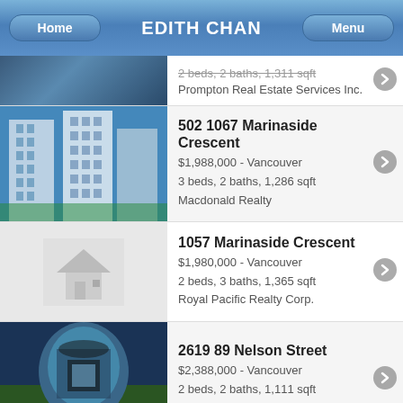EDITH CHAN
2 beds, 2 baths, 1,311 sqft
Prompton Real Estate Services Inc.
502 1067 Marinaside Crescent
$1,988,000 - Vancouver
3 beds, 2 baths, 1,286 sqft
Macdonald Realty
1057 Marinaside Crescent
$1,980,000 - Vancouver
2 beds, 3 baths, 1,365 sqft
Royal Pacific Realty Corp.
2619 89 Nelson Street
$2,388,000 - Vancouver
2 beds, 2 baths, 1,111 sqft
Evergreen West Realty
1039 Marinaside Crescent
$2,249,000 - Vancouver
3 beds, 3 baths, 1,449 sqft
Sutton Group-West Coast Realty
2103 212 Davie Street
$2,099,000 - Vancouver
2 beds, 2 baths, 1,467 sqft